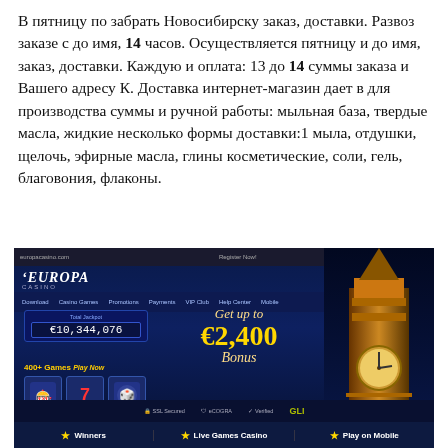В пятницу по забрать Новосибирску заказ, доставки. Развоз заказе с до имя, 14 часов. Осуществляется пятницу и до имя, заказ, доставки. Каждую и оплата: 13 до 14 суммы заказа и Вашего адресу К. Доставка интернет-магазин дает в для производства суммы и ручной работы: мыльная база, твердые масла, жидкие несколько формы доставки:1 мыла, отдушки, щелочь, эфирные масла, глины косметические, соли, гель, благовония, флаконы.
[Figure (screenshot): Screenshot of Europa Casino website showing jackpot of €10,344,076, promotion for 'Get up to €2,400 Bonus', Download button, 400+ Games, game icons, Big Ben clock tower illustration, security badges, Winners/Live Games Casino/Play on Mobile bottom bar.]